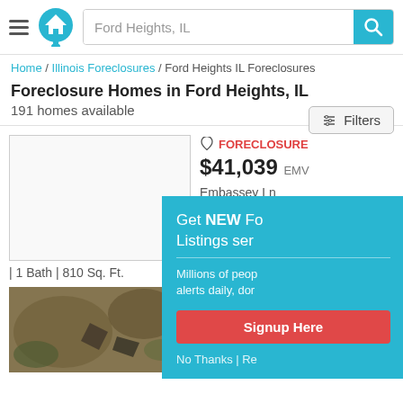[Figure (screenshot): Website header with hamburger menu, house logo, search bar with 'Ford Heights, IL' text, and teal search button]
Home / Illinois Foreclosures / Ford Heights IL Foreclosures
Foreclosure Homes in Ford Heights, IL
191 homes available
Filters
FORECLOSURE
$41,039 EMV
Embassey Ln
Ford Heights, IL 604
[Figure (photo): Empty/blank white placeholder image for first property listing]
| 1 Bath | 810 Sq. Ft.
PREFORECLOSURE
Park Ln
Ford Heights, IL 60411
[Figure (photo): Aerial photograph of a property with overgrown vegetation and rooftops visible]
[Figure (infographic): Popup overlay: 'Get NEW Foreclosure Listings sent...' with signup button and dismiss option]